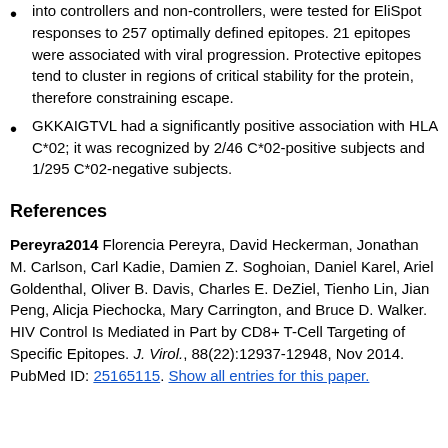into controllers and non-controllers, were tested for EliSpot responses to 257 optimally defined epitopes. 21 epitopes were associated with viral progression. Protective epitopes tend to cluster in regions of critical stability for the protein, therefore constraining escape.
GKKAIGTVL had a significantly positive association with HLA C*02; it was recognized by 2/46 C*02-positive subjects and 1/295 C*02-negative subjects.
References
Pereyra2014 Florencia Pereyra, David Heckerman, Jonathan M. Carlson, Carl Kadie, Damien Z. Soghoian, Daniel Karel, Ariel Goldenthal, Oliver B. Davis, Charles E. DeZiel, Tienho Lin, Jian Peng, Alicja Piechocka, Mary Carrington, and Bruce D. Walker. HIV Control Is Mediated in Part by CD8+ T-Cell Targeting of Specific Epitopes. J. Virol., 88(22):12937-12948, Nov 2014. PubMed ID: 25165115. Show all entries for this paper.